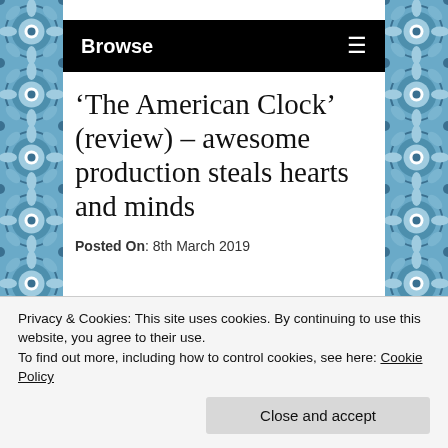[Figure (illustration): Decorative blue and white tile pattern on left and right margins of the page]
Browse ≡
‘The American Clock’ (review) – awesome production steals hearts and minds
Posted On: 8th March 2019
Privacy & Cookies: This site uses cookies. By continuing to use this website, you agree to their use.
To find out more, including how to control cookies, see here: Cookie Policy
Close and accept